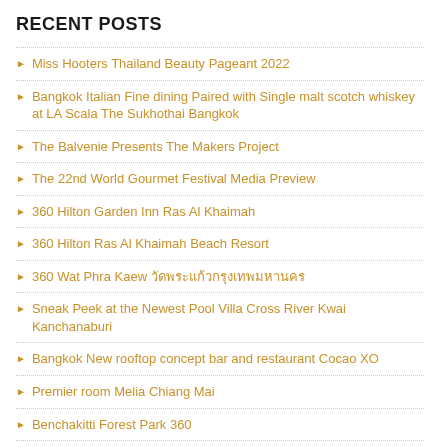RECENT POSTS
Miss Hooters Thailand Beauty Pageant 2022
Bangkok Italian Fine dining Paired with Single malt scotch whiskey at LA Scala The Sukhothai Bangkok
The Balvenie Presents The Makers Project
The 22nd World Gourmet Festival Media Preview
360 Hilton Garden Inn Ras Al Khaimah
360 Hilton Ras Al Khaimah Beach Resort
360 Wat Phra Kaew วัดพระแก้ว กรุงเทพมหานคร
Sneak Peek at the Newest Pool Villa Cross River Kwai Kanchanaburi
Bangkok New rooftop concept bar and restaurant Cocao XO
Premier room Melia Chiang Mai
Benchakitti Forest Park 360
Top 6 Spas in Bangkok